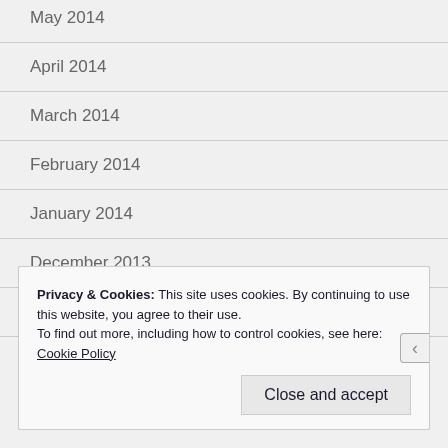May 2014
April 2014
March 2014
February 2014
January 2014
December 2013
November 2013
Privacy & Cookies: This site uses cookies. By continuing to use this website, you agree to their use.
To find out more, including how to control cookies, see here: Cookie Policy
Close and accept